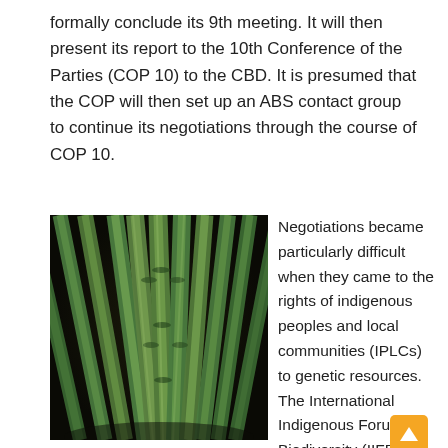formally conclude its 9th meeting. It will then present its report to the 10th Conference of the Parties (COP 10) to the CBD. It is presumed that the COP will then set up an ABS contact group to continue its negotiations through the course of COP 10.
[Figure (photo): Close-up photograph of green bamboo stalks arranged in a dome or fan shape, viewed from below against a dark background.]
Negotiations became particularly difficult when they came to the rights of indigenous peoples and local communities (IPLCs) to genetic resources. The International Indigenous Forum on Biodiversity (IIFB),